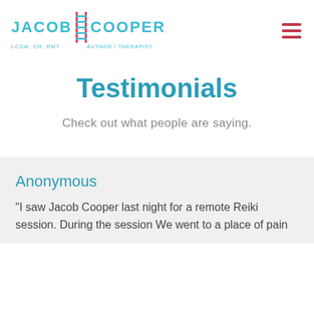[Figure (logo): Jacob Cooper LCSW, CH, RMT Author / Therapist logo with ladder icon in teal/pink]
Testimonials
Check out what people are saying.
Anonymous
"I saw Jacob Cooper last night for a remote Reiki session. During the session We went to a place of pain